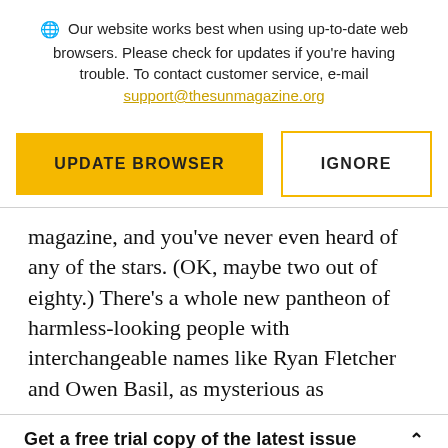Our website works best when using up-to-date web browsers. Please check for updates if you're having trouble. To contact customer service, e-mail support@thesunmagazine.org
[Figure (other): Two buttons: 'UPDATE BROWSER' (yellow filled) and 'IGNORE' (yellow outlined)]
magazine, and you've never even heard of any of the stars. (OK, maybe two out of eighty.) There's a whole new pantheon of harmless-looking people with interchangeable names like Ryan Fletcher and Owen Basil, as mysterious as
Get a free trial copy of the latest issue